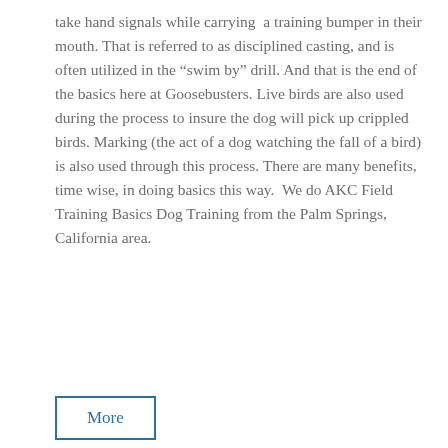take hand signals while carrying a training bumper in their mouth. That is referred to as disciplined casting, and is often utilized in the “swim by” drill. And that is the end of the basics here at Goosebusters. Live birds are also used during the process to insure the dog will pick up crippled birds. Marking (the act of a dog watching the fall of a bird) is also used through this process. There are many benefits, time wise, in doing basics this way.  We do AKC Field Training Basics Dog Training from the Palm Springs, California area.
More